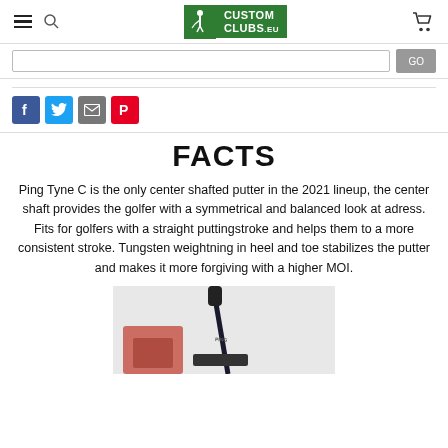Custom Clubs EU — navigation header with hamburger menu, search icon, logo, and cart icon
[Figure (screenshot): Social share buttons: Facebook, Twitter, Email, Pinterest]
FACTS
Ping Tyne C is the only center shafted putter in the 2021 lineup, the center shaft provides the golfer with a symmetrical and balanced look at adress. Fits for golfers with a straight puttingstroke and helps them to a more consistent stroke. Tungsten weightning in heel and toe stabilizes the putter and makes it more forgiving with a higher MOI.
[Figure (photo): Ping putter club head and shaft - product photo showing a black center-shafted putter with red golf bag accessories]